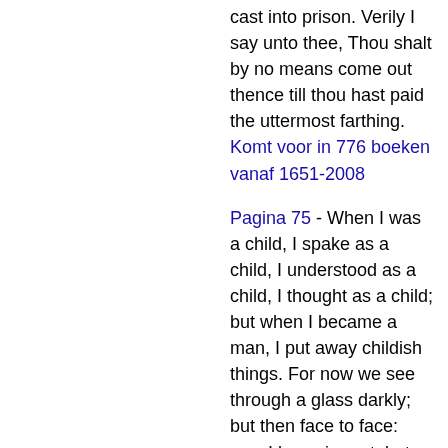cast into prison. Verily I say unto thee, Thou shalt by no means come out thence till thou hast paid the uttermost farthing. Komt voor in 776 boeken vanaf 1651-2008
Pagina 75 - When I was a child, I spake as a child, I understood as a child, I thought as a child; but when I became a man, I put away childish things. For now we see through a glass darkly; but then face to face: now I know in part; but then shall I know even as also I am known. Komt voor in 490 boeken vanaf 1808-2008